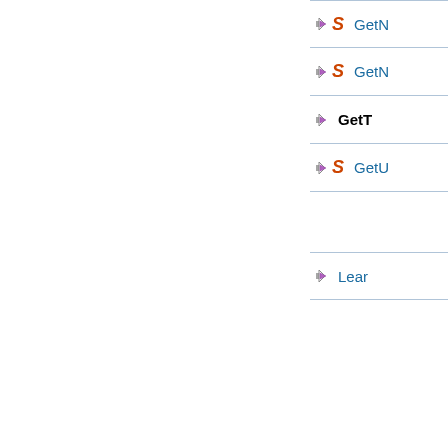GetN (with S icon)
GetN (with S icon)
GetT
GetU (with S icon)
Learn